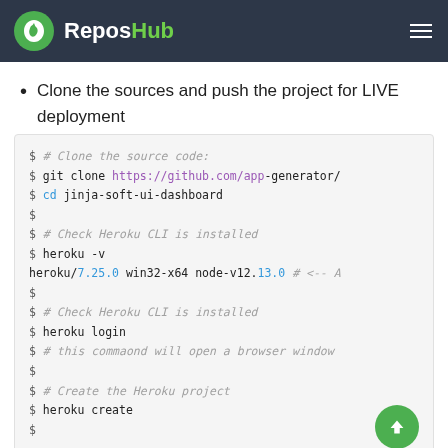ReposHub
Clone the sources and push the project for LIVE deployment
$ # Clone the source code:
$ git clone https://github.com/app-generator/
$ cd jinja-soft-ui-dashboard
$
$ # Check Heroku CLI is installed
$ heroku -v
heroku/7.25.0 win32-x64 node-v12.13.0 # <-- A
$
$ # Check Heroku CLI is installed
$ heroku login
$ # this commaond will open a browser window
$
$ # Create the Heroku project
$ heroku create
$